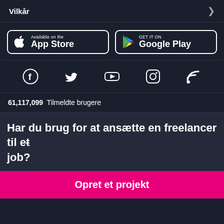Vilkår
[Figure (logo): App Store and Google Play download buttons side by side on dark background]
[Figure (infographic): Social media icons row: Facebook, Twitter, YouTube, Instagram, RSS]
61,117,099  Tilmeldte brugere
Har du brug for at ansætte en freelancer til et job?
Opret et projekt